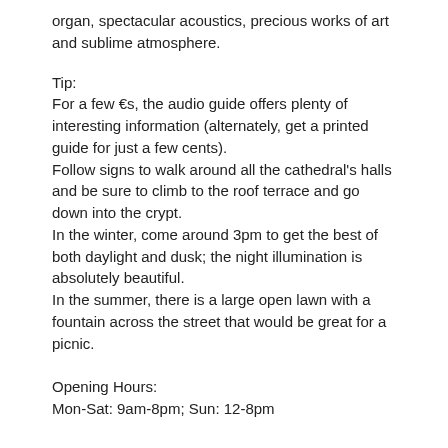organ, spectacular acoustics, precious works of art and sublime atmosphere.
Tip:
For a few €s, the audio guide offers plenty of interesting information (alternately, get a printed guide for just a few cents).
Follow signs to walk around all the cathedral's halls and be sure to climb to the roof terrace and go down into the crypt.
In the winter, come around 3pm to get the best of both daylight and dusk; the night illumination is absolutely beautiful.
In the summer, there is a large open lawn with a fountain across the street that would be great for a picnic.
Opening Hours:
Mon-Sat: 9am-8pm; Sun: 12-8pm
Image Courtesy of Flickr and Olivier Bruchez